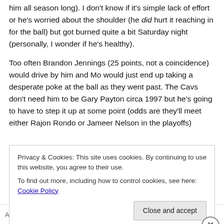him all season long). I don't know if it's simple lack of effort or he's worried about the shoulder (he did hurt it reaching in for the ball) but got burned quite a bit Saturday night (personally, I wonder if he's healthy).
Too often Brandon Jennings (25 points, not a coincidence) would drive by him and Mo would just end up taking a desperate poke at the ball as they went past. The Cavs don't need him to be Gary Payton circa 1997 but he's going to have to step it up at some point (odds are they'll meet either Rajon Rondo or Jameer Nelson in the playoffs)
Privacy & Cookies: This site uses cookies. By continuing to use this website, you agree to their use.
To find out more, including how to control cookies, see here: Cookie Policy
Close and accept
Advertisements